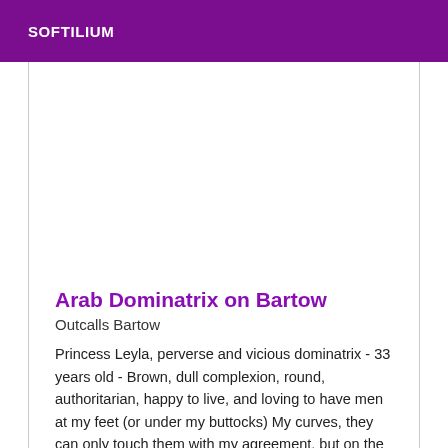SOFTILIUM
[Figure (photo): Blank/white image placeholder area]
Arab Dominatrix on Bartow
Outcalls Bartow
Princess Leyla, perverse and vicious dominatrix - 33 years old - Brown, dull complexion, round, authoritarian, happy to live, and loving to have men at my feet (or under my buttocks) My curves, they can only touch them with my agreement, but on the other hand they can